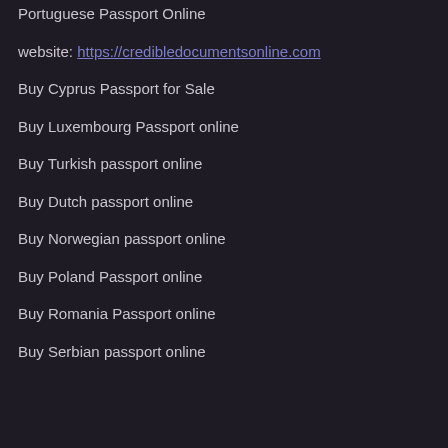Portuguese Passport Online
website: https://credibledocumentsonline.com
Buy Cyprus Passport for Sale
Buy Luxembourg Passport online
Buy Turkish passport online
Buy Dutch passport online
Buy Norwegian passport online
Buy Poland Passport online
Buy Romania Passport online
Buy Serbian passport online